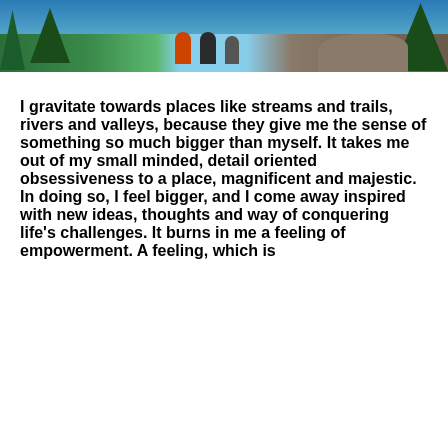[Figure (photo): Outdoor nature photo showing hikers near a mountain lake with trees, rocks, and blue sky in the background]
I gravitate towards places like streams and trails, rivers and valleys, because they give me the sense of something so much bigger than myself. It takes me out of my small minded, detail oriented obsessiveness to a place, magnificent and majestic. In doing so, I feel bigger, and I come away inspired with new ideas, thoughts and way of conquering life's challenges. It burns in me a feeling of empowerment. A feeling, which is